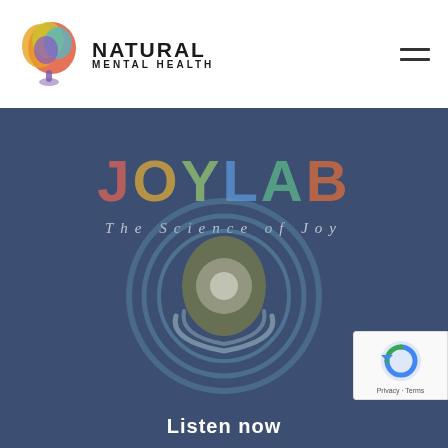[Figure (logo): Natural Mental Health logo with colorful brain icon and text 'NATURAL MENTAL HEALTH']
[Figure (illustration): JoyLab banner with dark blue background, colorful JOYLAB text, subtitle 'The Science of Joy', abstract microphone/circle graphic, and 'Listen now' call to action]
[Figure (other): reCAPTCHA privacy badge with 'Privacy - Terms' text]